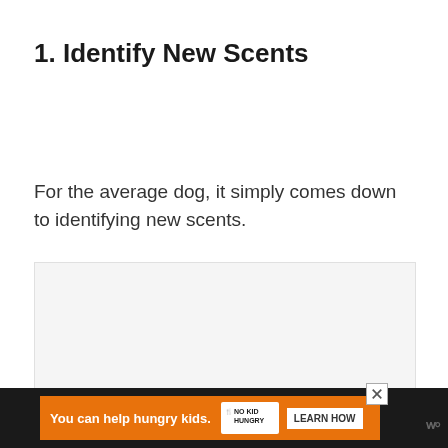1. Identify New Scents
For the average dog, it simply comes down to identifying new scents.
[Figure (other): Light gray placeholder box representing an image area]
[Figure (other): Advertisement banner at bottom: orange background with text 'You can help hungry kids.' and 'No Kid Hungry' logo and 'LEARN HOW' button on dark background]